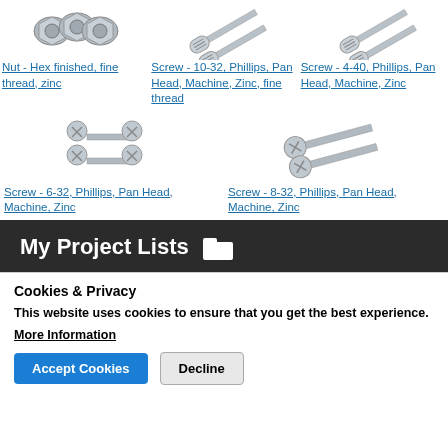[Figure (photo): Photo of zinc hex nuts]
Nut - Hex finished, fine thread, zinc
[Figure (photo): Photo of 10-32 Phillips Pan Head Machine Screws, zinc fine thread]
Screw - 10-32, Phillips, Pan Head, Machine, Zinc, fine thread
[Figure (photo): Photo of 4-40 Phillips Pan Head Machine Screws, zinc]
Screw - 4-40, Phillips, Pan Head, Machine, Zinc
[Figure (photo): Photo of 6-32 Phillips Pan Head Machine Screws, zinc]
Screw - 6-32, Phillips, Pan Head, Machine, Zinc
[Figure (photo): Photo of 8-32 Phillips Pan Head Machine Screws, zinc]
Screw - 8-32, Phillips, Pan Head, Machine, Zinc
My Project Lists
Cookies & Privacy
This website uses cookies to ensure that you get the best experience.
More Information
Accept Cookies
Decline